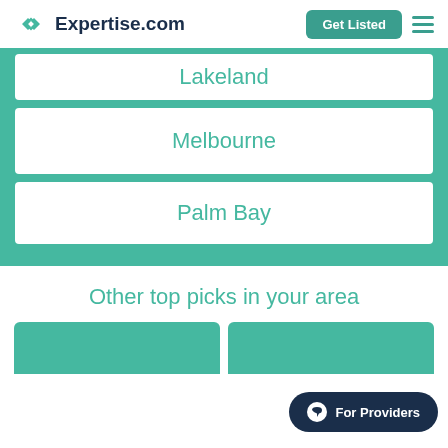Expertise.com
Lakeland
Melbourne
Palm Bay
Other top picks in your area
For Providers